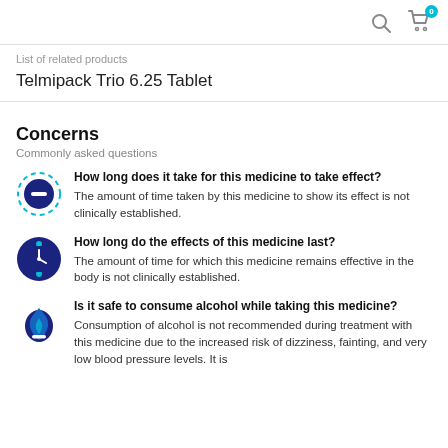Search | Cart (0)
List of related products
Telmipack Trio 6.25 Tablet
Concerns
Commonly asked questions
How long does it take for this medicine to take effect?
The amount of time taken by this medicine to show its effect is not clinically established.
How long do the effects of this medicine last?
The amount of time for which this medicine remains effective in the body is not clinically established.
Is it safe to consume alcohol while taking this medicine?
Consumption of alcohol is not recommended during treatment with this medicine due to the increased risk of dizziness, fainting, and very low blood pressure levels. It is